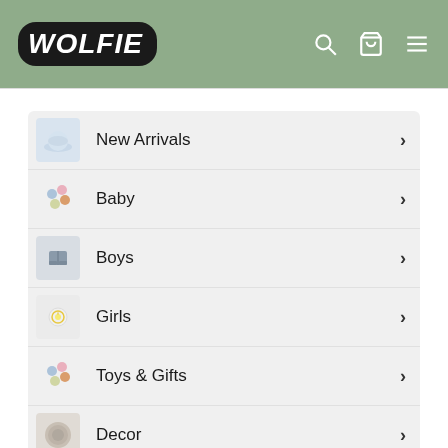[Figure (screenshot): Wolfie children's store website header with sage green background, logo badge, search icon, cart icon, and hamburger menu icon]
New Arrivals
Baby
Boys
Girls
Toys & Gifts
Decor
Brands